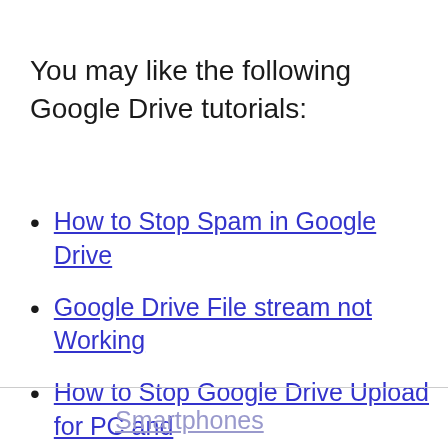You may like the following Google Drive tutorials:
How to Stop Spam in Google Drive
Google Drive File stream not Working
How to Stop Google Drive Upload for PC and Smartphones